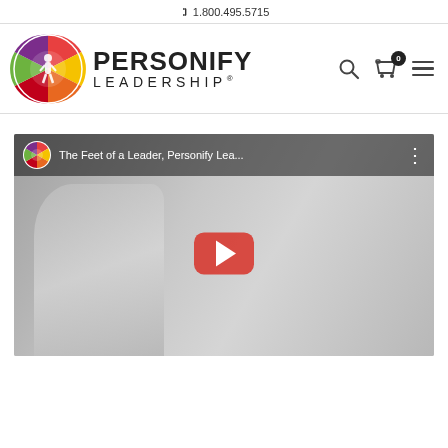📞 1.800.495.5715
[Figure (logo): Personify Leadership logo: circular colorful wheel with body figure icon, alongside text PERSONIFY LEADERSHIP with search, cart (0), and hamburger menu icons]
[Figure (screenshot): YouTube video thumbnail: 'The Feet of a Leader, Personify Lea...' showing a woman gesturing with her hand raised, with a YouTube play button overlay]